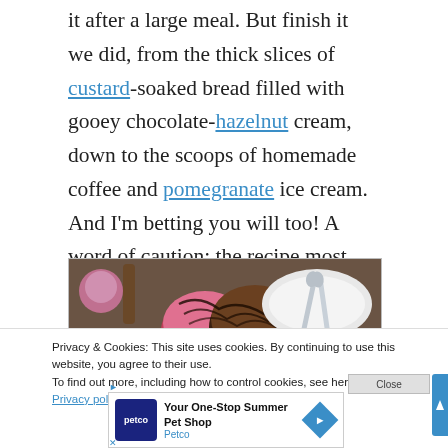it after a large meal. But finish it we did, from the thick slices of custard-soaked bread filled with gooey chocolate-hazelnut cream, down to the scoops of homemade coffee and pomegranate ice cream. And I'm betting you will too! A word of caution: the recipe most likely involves eggs, so if that's a problem, check before ordering.
[Figure (photo): Photo of ice cream scoops with chocolate drizzle on a wooden table, with a white plate and spoons in the background, and a pink/purple mug on the left]
Privacy & Cookies: This site uses cookies. By continuing to use this website, you agree to their use. To find out more, including how to control cookies, see here: Privacy policy
[Figure (other): Petco advertisement banner: 'Your One-Stop Summer Pet Shop' with Petco logo and diamond navigation icon]